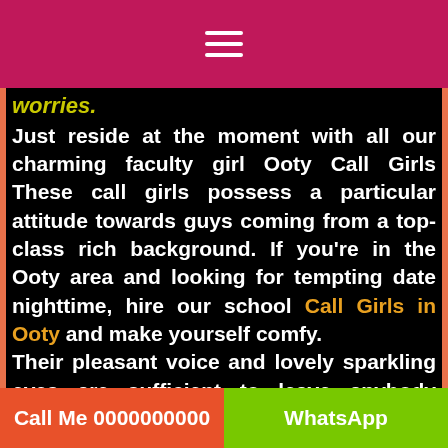≡
worries.
Just reside at the moment with all our charming faculty girl Ooty Call Girls These call girls possess a particular attitude towards guys coming from a top-class rich background. If you're in the Ooty area and looking for tempting date nighttime, hire our school Call Girls in Ooty and make yourself comfy. Their pleasant voice and lovely sparkling eyes are sufficient to leave anybody spellbound. Allow the steaminess to begin because you feel the odor of the entire body. Please take full advantage of this moment and allow it to be memorable with our naughty school girl Escort in Ooty town. It's possible to see our gallery online and reserve your appointment depending on your
Call Me 0000000000 | WhatsApp